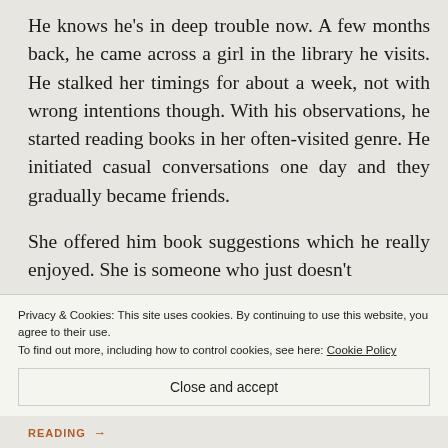He knows he's in deep trouble now. A few months back, he came across a girl in the library he visits. He stalked her timings for about a week, not with wrong intentions though. With his observations, he started reading books in her often-visited genre. He initiated casual conversations one day and they gradually became friends.
She offered him book suggestions which he really enjoyed. She is someone who just doesn't
Privacy & Cookies: This site uses cookies. By continuing to use this website, you agree to their use.
To find out more, including how to control cookies, see here: Cookie Policy
Close and accept
READING →